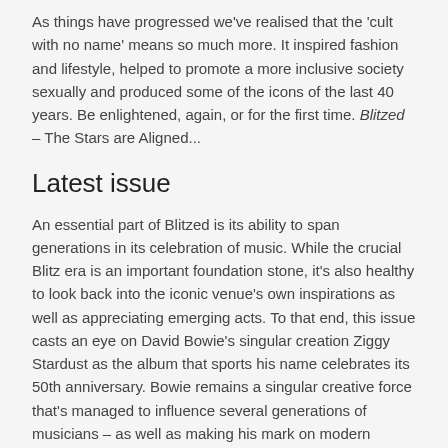As things have progressed we've realised that the 'cult with no name' means so much more. It inspired fashion and lifestyle, helped to promote a more inclusive society sexually and produced some of the icons of the last 40 years. Be enlightened, again, or for the first time. Blitzed – The Stars are Aligned...
Latest issue
An essential part of Blitzed is its ability to span generations in its celebration of music. While the crucial Blitz era is an important foundation stone, it's also healthy to look back into the iconic venue's own inspirations as well as appreciating emerging acts. To that end, this issue casts an eye on David Bowie's singular creation Ziggy Stardust as the album that sports his name celebrates its 50th anniversary. Bowie remains a singular creative force that's managed to influence several generations of musicians – as well as making his mark on modern culture. We feature an exclusive interview with xPropaganda's Claudia Brücken and Susanne Freytag, exploring the story behind their new album The Heart Is Strange. There's also our special